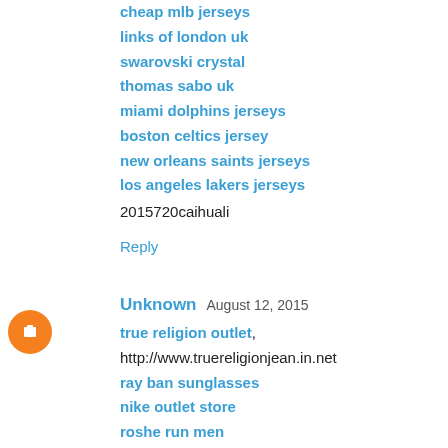cheap mlb jerseys
links of london uk
swarovski crystal
thomas sabo uk
miami dolphins jerseys
boston celtics jersey
new orleans saints jerseys
los angeles lakers jerseys
2015720caihuali
Reply
Unknown  August 12, 2015
true religion outlet, http://www.truereligionjean.in.net
ray ban sunglasses
nike outlet store
roshe run men
cheap mlb jerseys
swarovski uk
denver broncos jerseys
adidas outlet
salomon running shoes